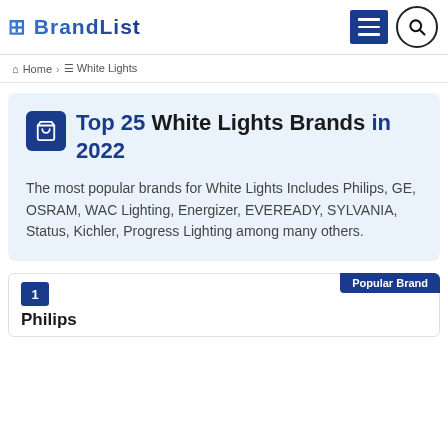Home > White Lights
Top 25 White Lights Brands in 2022
The most popular brands for White Lights Includes Philips, GE, OSRAM, WAC Lighting, Energizer, EVEREADY, SYLVANIA, Status, Kichler, Progress Lighting among many others.
1 Philips